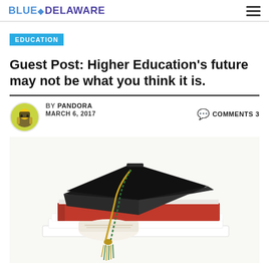BLUE DELAWARE
EDUCATION
Guest Post: Higher Education’s future may not be what you think it is.
BY PANDORA   MARCH 6, 2017   COMMENTS 3
[Figure (photo): Graduation cap with gold and green tassel resting on top of stacked books including a red book and diploma on white background]